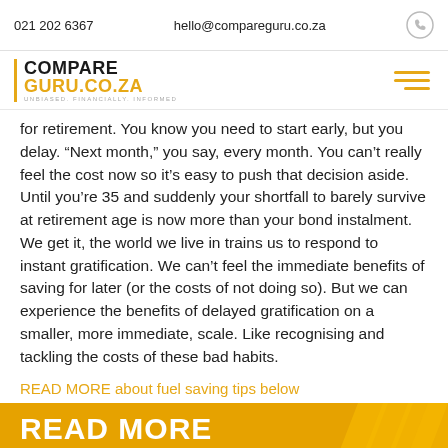021 202 6367   hello@compareguru.co.za
[Figure (logo): CompareGuru.co.za logo with orange left border, tagline UNBIASED. FINANCIALLY. INFORMED, and hamburger menu icon in orange]
for retirement. You know you need to start early, but you delay. “Next month,” you say, every month. You can’t really feel the cost now so it’s easy to push that decision aside. Until you’re 35 and suddenly your shortfall to barely survive at retirement age is now more than your bond instalment. We get it, the world we live in trains us to respond to instant gratification. We can’t feel the immediate benefits of saving for later (or the costs of not doing so). But we can experience the benefits of delayed gratification on a smaller, more immediate, scale. Like recognising and tackling the costs of these bad habits.
READ MORE about fuel saving tips below
[Figure (illustration): Orange banner with large white bold text READ MORE and chevron/arrow graphics on the right side]